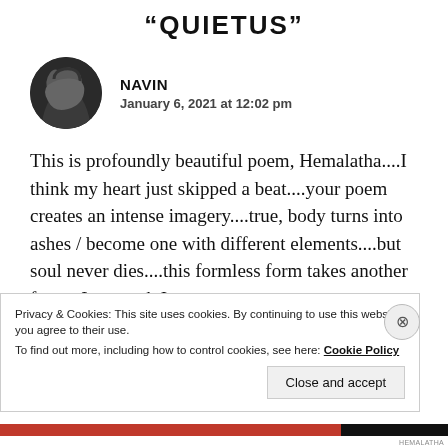“QUIETUS”
[Figure (photo): Circular black and white avatar photo of Navin, showing a person with long dark hair looking to the side]
NAVIN
January 6, 2021 at 12:02 pm
This is profoundly beautiful poem, Hemalatha....I think my heart just skipped a beat....your poem creates an intense imagery....true, body turns into ashes / become one with different elements....but soul never dies....this formless form takes another form...I see such Images on my screen at
Privacy & Cookies: This site uses cookies. By continuing to use this website, you agree to their use.
To find out more, including how to control cookies, see here: Cookie Policy
Close and accept